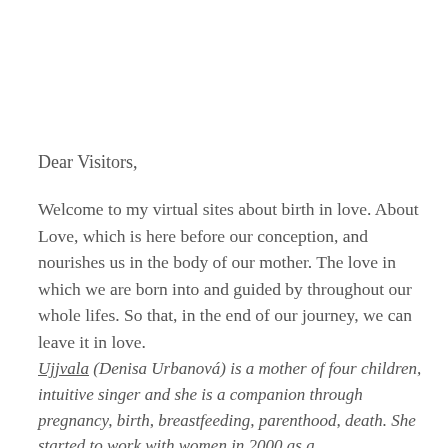Dear Visitors,
Welcome to my virtual sites about birth in love. About Love, which is here before our conception, and nourishes us in the body of our mother. The love in which we are born into and guided by throughout our whole lifes. So that, in the end of our journey, we can leave it in love.
Ujjvala (Denisa Urbanová) is a mother of four children, intuitive singer and she is a companion through pregnancy, birth, breastfeeding, parenthood, death. She started to work with women in 2000 as a